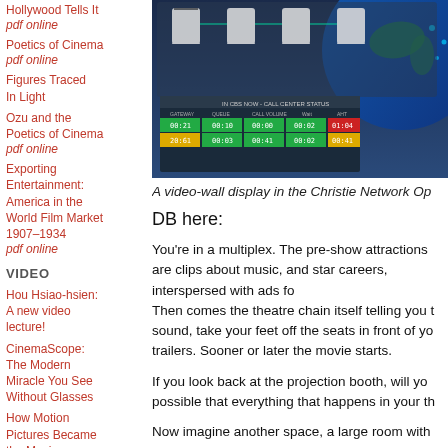Hollywood Tells It
pdf online
Poetics of Cinema
pdf online
Figures Traced In Light
Ozu and the Poetics of Cinema
pdf online
Exporting Entertainment: America in the World Film Market 1907–1934
pdf online
VIDEO
Hou Hsiao-hsien: A new video lecture!
CinemaScope: The Modern Miracle You See Without Glasses
How Motion Pictures Became the Movies
Constructive editing in Pickpocket: A video essay
ESSAYS
Rex Stout: Laramachining
[Figure (screenshot): A video-wall display showing a call center status dashboard with colored status indicators (green, yellow, red) and time counters, with a globe graphic in the background.]
A video-wall display in the Christie Network Op
DB here:
You’re in a multiplex. The pre-show attractions are clips about music, and star careers, interspersed with ads for local businesses. Then comes the theatre chain itself telling you to enjoy the sound, take your feet off the seats in front of you, and watch trailers. Sooner or later the movie starts.
If you look back at the projection booth, will you see… possible that everything that happens in your th…
Now imagine another space, a large room with…